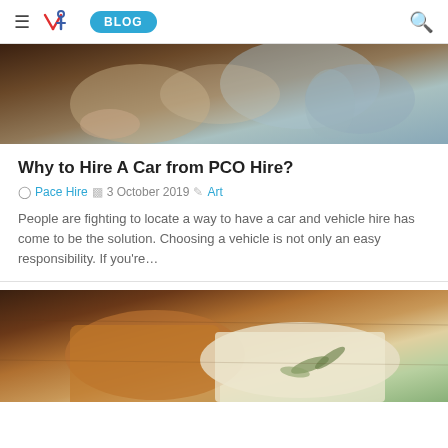≡ [Logo] BLOG [Search]
[Figure (photo): Top-down view of hands on a wooden table with a cup and a tablet/notebook, person wearing grey-blue long sleeves]
Why to Hire A Car from PCO Hire?
Pace Hire  3 October 2019  Art
People are fighting to locate a way to have a car and vehicle hire has come to be the solution. Choosing a vehicle is not only an easy responsibility. If you&#39;re...
[Figure (photo): Flat lay of a leather notebook/wallet and an open book with dried leaves on a wooden surface]